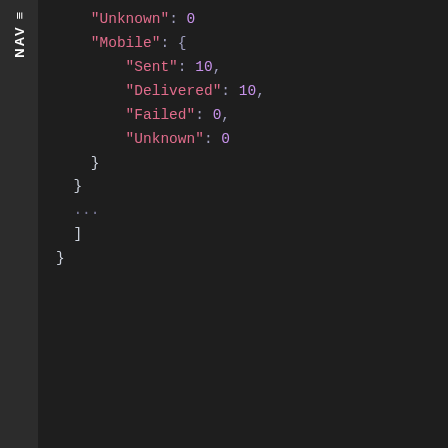[Figure (screenshot): Code block showing JSON with keys Unknown, Mobile (containing Sent: 10, Delivered: 10, Failed: 0, Unknown: 0), closing braces and brackets on dark background with NAV sidebar]
An admin user may obtain statistics of SMS sent during a given time.
GET /Statistics/{UserId}/Sent?start={DateTime}&end={DateTime}
Where {UserId} is the identification of a user. Both start and end are optional. Please note that you may need to URL encode the {DateTime} as seen in the example. If no time zone is given CET/CEST is assumed (local time zone in Sweden).